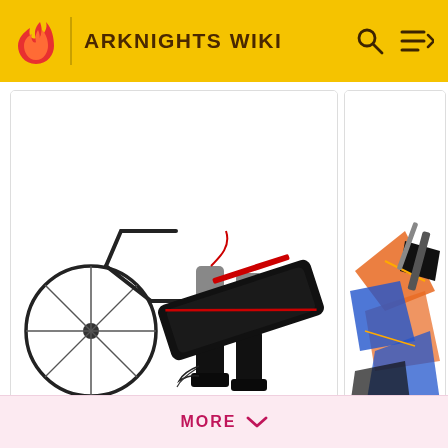ARKNIGHTS WIKI
[Figure (illustration): Arknights operator character art showing lower body with weapon case and bicycle wheel, dark outfit with red accents]
[Figure (illustration): Partial view of another Arknights operator character art with blue/orange costume elements]
| Field | Value |
| --- | --- |
| FILE NO. | RE41 |
| OPERATOR REC. | Will You? |
| PARADOX SIM. | An Army of One |
| ILLUSTRATOR | @W |
MORE